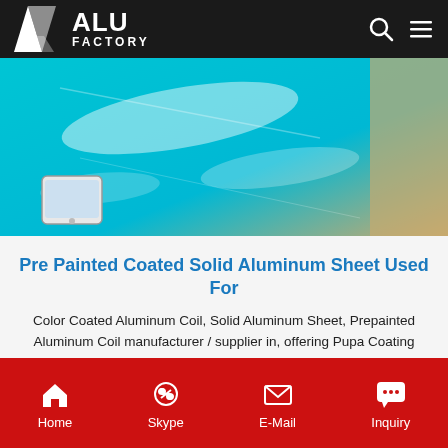ALU FACTORY
[Figure (photo): Overhead view of shiny blue pre-painted aluminum sheet with protective film, a phone visible in corner]
Pre Painted Coated Solid Aluminum Sheet Used For
Color Coated Aluminum Coil, Solid Aluminum Sheet, Prepainted Aluminum Coil manufacturer / supplier in, offering Pupa Coating 0.23mm Thickness Pre Painted Aluminum Coil Strip for Roller Shutter, AA3003 AA3004 Color Coated Aluminum Roof Sheets, PPG PE PVDF Paint Solid Aluminum Panel Painted Pure Aluminum Sheet and so
Get Price
Home  Skype  E-Mail  Inquiry